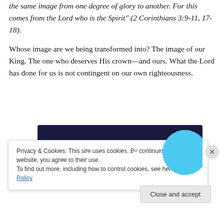the same image from one degree of glory to another. For this comes from the Lord who is the Spirit" (2 Corinthians 3:9-11, 17-18).
Whose image are we being transformed into? The image of our King. The one who deserves His crown—and ours. What the Lord has done for us is not contingent on our own righteousness.
[Figure (other): Advertisement banner with dark navy background and cyan circle, text reading 'Turn your hobby into a business in 8 steps']
Privacy & Cookies: This site uses cookies. By continuing to use this website, you agree to their use.
To find out more, including how to control cookies, see here: Cookie Policy
Close and accept